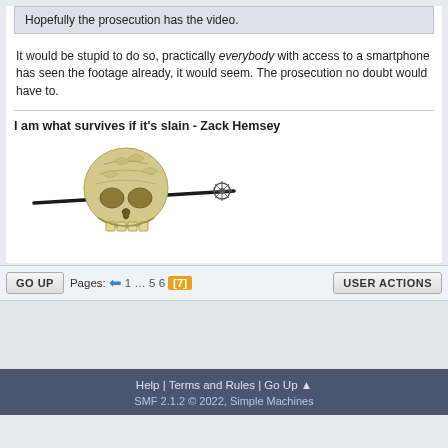Hopefully the prosecution has the video.
It would be stupid to do so, practically everybody with access to a smartphone has seen the footage already, it would seem. The prosecution no doubt would have to.
I am what survives if it's slain - Zack Hemsey
[Figure (illustration): A decorative skull pierced by a long dark pin/skewer with an ornate end piece, rendered in light golden/ivory tones.]
GO UP   Pages: ← 1 ... 5 6 [7]   USER ACTIONS
Help | Terms and Rules | Go Up ▲
SMF 2.1.2 © 2022, Simple Machines